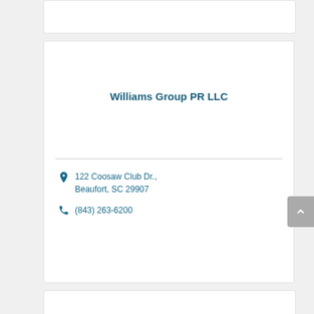Williams Group PR LLC
122 Coosaw Club Dr., Beaufort, SC 29907
(843) 263-6200